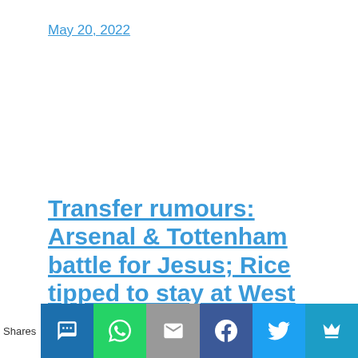May 20, 2022
Transfer rumours: Arsenal & Tottenham battle for Jesus; Rice tipped to stay at West Ham
The latest transfer rumours, including